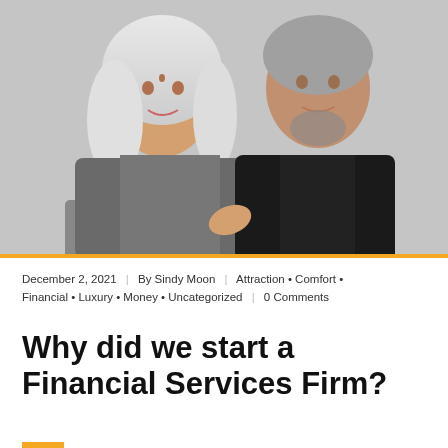[Figure (photo): A professional photo of two people — a woman with long white/blonde hair wearing a gray blazer, and a man in a dark suit with a white shirt, both smiling and posing together against a light gray background.]
December 2, 2021  |  By Sindy Moon  |  Attraction • Comfort • Financial • Luxury • Money • Uncategorized  |  0 Comments
Why did we start a Financial Services Firm?